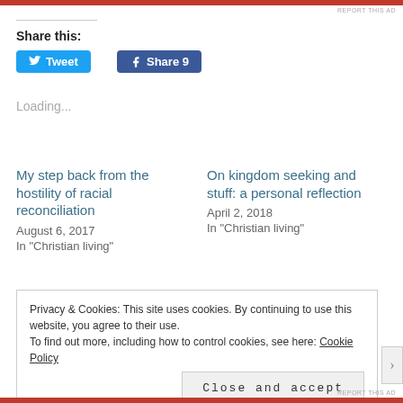REPORT THIS AD
Share this:
Tweet
Share 9
Loading...
My step back from the hostility of racial reconciliation
August 6, 2017
In "Christian living"
On kingdom seeking and stuff: a personal reflection
April 2, 2018
In "Christian living"
Privacy & Cookies: This site uses cookies. By continuing to use this website, you agree to their use.
To find out more, including how to control cookies, see here: Cookie Policy
Close and accept
REPORT THIS AD